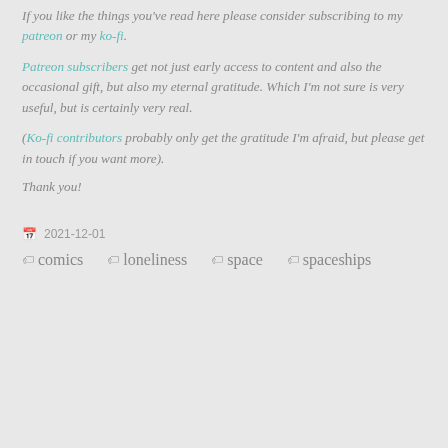If you like the things you've read here please consider subscribing to my patreon or my ko-fi.
Patreon subscribers get not just early access to content and also the occasional gift, but also my eternal gratitude. Which I'm not sure is very useful, but is certainly very real.
(Ko-fi contributors probably only get the gratitude I'm afraid, but please get in touch if you want more).
Thank you!
2021-12-01
comics
loneliness
space
spaceships